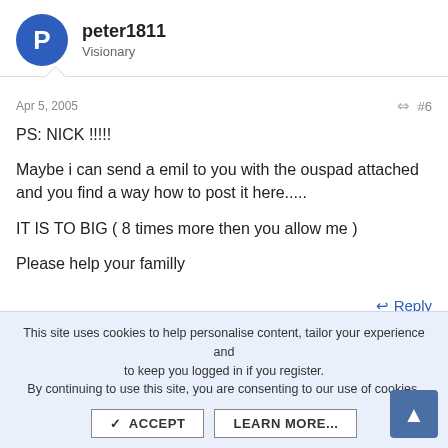peter1811
Visionary
Apr 5, 2005
#6
PS: NICK !!!!!

Maybe i can send a emil to you with the ouspad attached and you find a way how to post it here.....

IT IS TO BIG ( 8 times more then you allow me )

Please help your familly
Reply
This site uses cookies to help personalise content, tailor your experience and to keep you logged in if you register.
By continuing to use this site, you are consenting to our use of cookies.
ACCEPT
LEARN MORE...